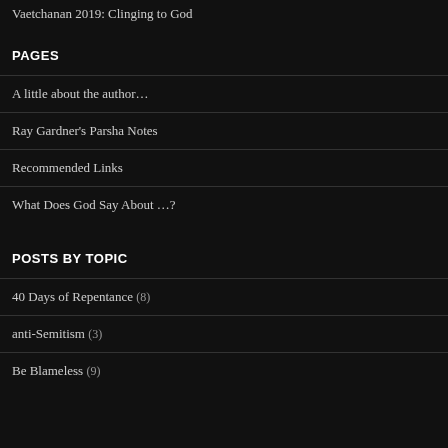Vaetchanan 2019: Clinging to God
PAGES
A little about the author…
Ray Gardner's Parsha Notes
Recommended Links
What Does God Say About …?
POSTS BY TOPIC
40 Days of Repentance (8)
anti-Semitism (3)
Be Blameless (9)